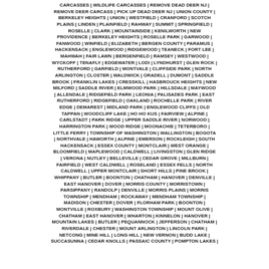CARCASSES | WILDLIFE CARCASSES | REMOVE DEAD DEER NJ | REMOVE DEER CARCASS | PICK UP DEAD DEER NJ | UNION COUNTY | BERKELEY HEIGHTS | UNION | WESTFIELD | CRANFORD | SCOTCH PLAINS | LINDEN | PLAINFIELD | RAHWAY | SUMMIT | SPRINGFIELD | ROSELLE | CLARK | MOUNTAINSIDE | KENILWORTH | NEW PROVIDENCE | BERKELEY HEIGHTS | ROSELLE PARK | GARWOOD | FANWOOD | WINFIELD | ELIZABETH | BERGEN COUNTY | PARAMUS | HACKENSACK | ENGLEWOOD | RIDGEWOOD | TEANECK | FORT LEE | MAHWAH | FAIR LAWN | BERGENFIELD | RAMSEY | WESTWOOD | WYCKOFF | TENAFLY | EDGEWATER | LODI | LYNDHURST | GLEN ROCK | RUTHERFORD | GARFIELD | MONTVALE | CLIFFSIDE PARK | NORTH ARLINGTON | CLOSTER | WALDWICK | ORADELL | DUMONT | SADDLE BROOK | FRANKLIN LAKES | CRESSKILL | HASBROUCK HEIGHTS | NEW MILFORD | SADDLE RIVER | ELMWOOD PARK | HILLSDALE | MAYWOOD | ALLENDALE | RIDGEFIELD PARK | LEONIA | PALISADES PARK | EAST RUTHERFORD | RIDGEFIELD | OAKLAND | ROCHELLE PARK | RIVER EDGE | DEMAREST | MIDLAND PARK | ENGLEWOOD CLIFFS | OLD TAPPAN | WOODCLIFF LAKE | HO HO KUS | FAIRVIEW | ALPINE | CARLSTADT | PARK RIDGE | UPPER SADDLE RIVER | NORWOOD | HARRINGTON PARK | WOOD RIDGE | MOONACHIE | TETERBORO | LITTLE FERRY | TOWNSHIP OF WASHINGTON | WALLINGTON | BOGOTA | NORTHVALE | HAWORTH | ALPINE | EMERSON | ROCKLEIGH | SOUTH HACKENSACK | ESSEX COUNTY | MONTCLAIR | WEST ORANGE | BLOOMFIELD | MAPLEWOOD | CALDWELL | LIVINGSTON | GLEN RIDGE | VERONA | NUTLEY | BELLEVILLE | CEDAR GROVE | MILLBURN | FAIRFIELD | WEST CALDWELL | ROSELAND | ESSEX FELLS | NORTH CALDWELL | UPPER MONTCLAIR | SHORT HILLS | PINE BROOK | WHIPPANY | BUTLER | BOONTON | CHATHAM | HANOVER | DENVILLE | EAST HANOVER | DOVER | MORRIS COUNTY | MORRISTOWN | PARSIPPANY | RANDOLP | DENVILLE | MORRIS PLAINS | MORRIS TOWNSHIP | MENDHAM | ROCKAWAY | MENDHAM TOWNSHIP | MADISON | CHESTER | DOVER | FLORHAM PARK | BOONTON | MONTVILLE | ROXBURY | WASHINGTON TOWNSHIP | MOUNT OLIVE | CHATHAM | EAST HANOVER | WHARTON | KINNELON | HANOVER | MOUNTAIN LAKES | BUTLER | PEQUANNOCK | JEFFERSON | CHATHAM | RIVERDALE | CHESTER | MOUNT ARLINGTON | LINCOLN PARK | NETCONG | MINE HILL | LONG HILL | NEW VERNON | BUDD LAKE | SUCCASUNNA | CEDAR KNOLLS | PASSAIC COUNTY | POMPTON LAKES |